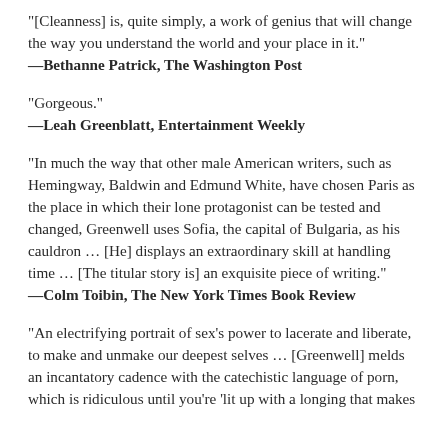“[Cleanness] is, quite simply, a work of genius that will change the way you understand the world and your place in it.”
—Bethanne Patrick, The Washington Post
“Gorgeous.”
—Leah Greenblatt, Entertainment Weekly
“In much the way that other male American writers, such as Hemingway, Baldwin and Edmund White, have chosen Paris as the place in which their lone protagonist can be tested and changed, Greenwell uses Sofia, the capital of Bulgaria, as his cauldron … [He] displays an extraordinary skill at handling time … [The titular story is] an exquisite piece of writing.”
—Colm Toibin, The New York Times Book Review
“An electrifying portrait of sex’s power to lacerate and liberate, to make and unmake our deepest selves … [Greenwell] melds an incantatory cadence with the catechistic language of porn, which is ridiculous until you’re ‘lit up with a longing that makes